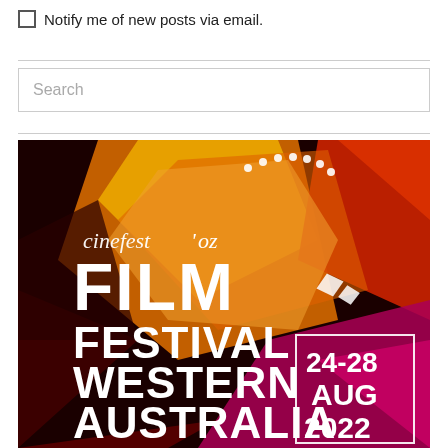Notify me of new posts via email.
[Figure (illustration): CinefestOZ Film Festival Western Australia 24-28 AUG 2022 promotional poster with geometric colorful background in red, orange, yellow and magenta tones.]